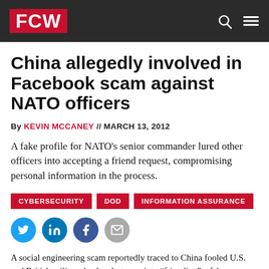FCW
China allegedly involved in Facebook scam against NATO officers
By KEVIN MCCANEY // MARCH 13, 2012
A fake profile for NATO's senior commander lured other officers into accepting a friend request, compromising personal information in the process.
CYBERSECURITY
DOD
INFORMATION ASSURANCE
[Figure (infographic): Social media sharing icons: Twitter, LinkedIn, Facebook, Email]
A social engineering scam reportedly traced to China fooled U.S. and British military leaders last year into “friending” a fake Facebook